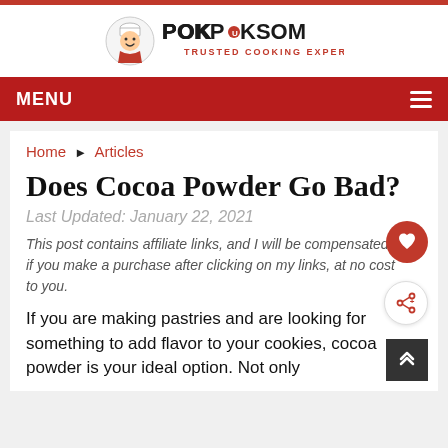[Figure (logo): Pokpoksom – Trusted Cooking Experts logo with chef character]
MENU
Home ▶ Articles
Does Cocoa Powder Go Bad?
Last Updated: January 22, 2021
This post contains affiliate links, and I will be compensated if you make a purchase after clicking on my links, at no cost to you.
If you are making pastries and are looking for something to add flavor to your cookies, cocoa powder is your ideal option. Not only